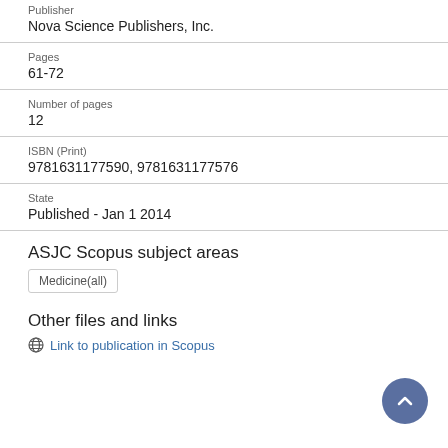Publisher
Nova Science Publishers, Inc.
Pages
61-72
Number of pages
12
ISBN (Print)
9781631177590, 9781631177576
State
Published - Jan 1 2014
ASJC Scopus subject areas
Medicine(all)
Other files and links
Link to publication in Scopus